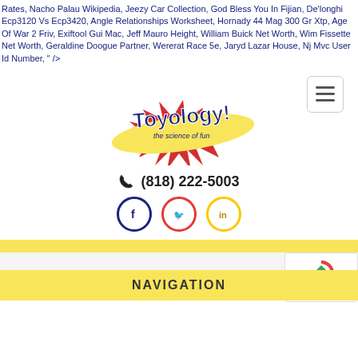Rates, Nacho Palau Wikipedia, Jeezy Car Collection, God Bless You In Fijian, De'longhi Ecp3120 Vs Ecp3420, Angle Relationships Worksheet, Hornady 44 Mag 300 Gr Xtp, Age Of War 2 Friv, Exiftool Gui Mac, Jeff Mauro Height, William Buick Net Worth, Wim Fissette Net Worth, Geraldine Doogue Partner, Wererat Race 5e, Jaryd Lazar House, Nj Mvc User Id Number, " />
[Figure (logo): Toyology! the science of fun logo — yellow and red swoosh with blue comic-style text]
(818) 222-5003
[Figure (infographic): Social media icons: Facebook (blue circle), Twitter (red circle), LinkedIn (yellow circle)]
[Figure (other): reCAPTCHA widget with Privacy and Terms text]
NAVIGATION